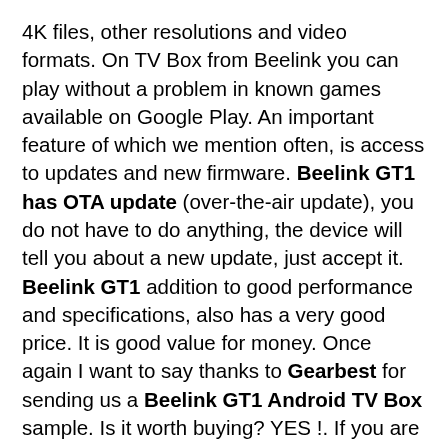4K files, other resolutions and video formats. On TV Box from Beelink you can play without a problem in known games available on Google Play. An important feature of which we mention often, is access to updates and new firmware. Beelink GT1 has OTA update (over-the-air update), you do not have to do anything, the device will tell you about a new update, just accept it. Beelink GT1 addition to good performance and specifications, also has a very good price. It is good value for money. Once again I want to say thanks to Gearbest for sending us a Beelink GT1 Android TV Box sample. Is it worth buying? YES !. If you are looking for TV Box at a low price, but having a good specification based on the new Amlogic S912, which works seamlessly supports video playback at 4K and has OTA updates – the Beelink GT1 is for YOU. According to us, this is one of the better TV Boxes available on the market, so it is not surprising that it is a hit sales. We